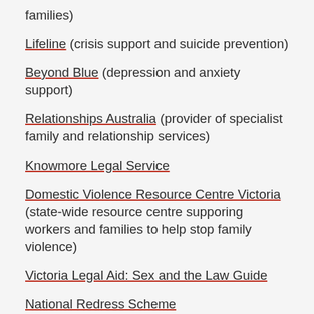families)
Lifeline (crisis support and suicide prevention)
Beyond Blue (depression and anxiety support)
Relationships Australia (provider of specialist family and relationship services)
Knowmore Legal Service
Domestic Violence Resource Centre Victoria (state-wide resource centre supporing workers and families to help stop family violence)
Victoria Legal Aid: Sex and the Law Guide
National Redress Scheme